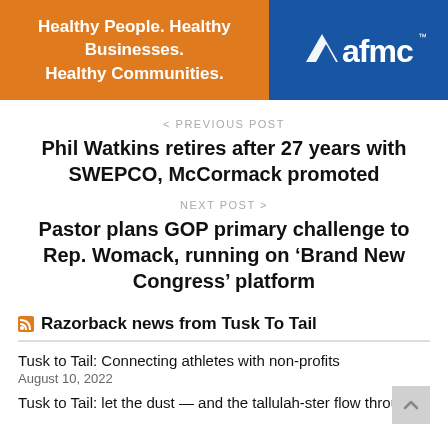[Figure (logo): AFMC banner advertisement with orange left panel reading 'Healthy People. Healthy Businesses. Healthy Communities.' and blue right panel with AFMC logo]
< PREVIOUS POST
Phil Watkins retires after 27 years with SWEPCO, McCormack promoted
NEXT POST >
Pastor plans GOP primary challenge to Rep. Womack, running on ‘Brand New Congress’ platform
Razorback news from Tusk To Tail
Tusk to Tail: Connecting athletes with non-profits
August 10, 2022
Tusk to Tail: let the dust — and the tallulah-ster flow through...